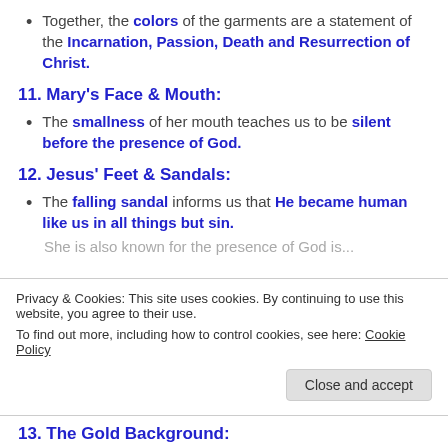Together, the colors of the garments are a statement of the Incarnation, Passion, Death and Resurrection of Christ.
11. Mary's Face & Mouth:
The smallness of her mouth teaches us to be silent before the presence of God.
12. Jesus' Feet & Sandals:
The falling sandal informs us that He became human like us in all things but sin.
She is also known for the presence of God is...
Privacy & Cookies: This site uses cookies. By continuing to use this website, you agree to their use.
To find out more, including how to control cookies, see here: Cookie Policy
13. The Gold Background: